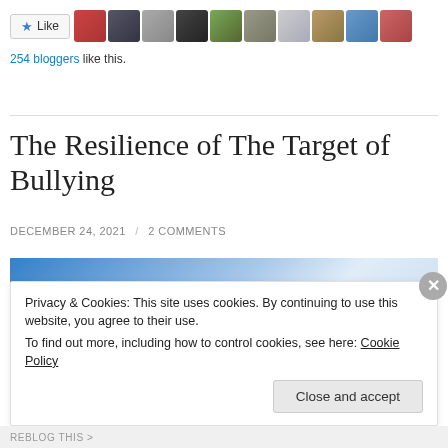[Figure (screenshot): Like button with star icon and row of blogger avatar photos]
254 bloggers like this.
The Resilience of The Target of Bullying
DECEMBER 24, 2021 / 2 COMMENTS
[Figure (photo): Blue sky gradient header image for article]
Privacy & Cookies: This site uses cookies. By continuing to use this website, you agree to their use.
To find out more, including how to control cookies, see here: Cookie Policy
Close and accept